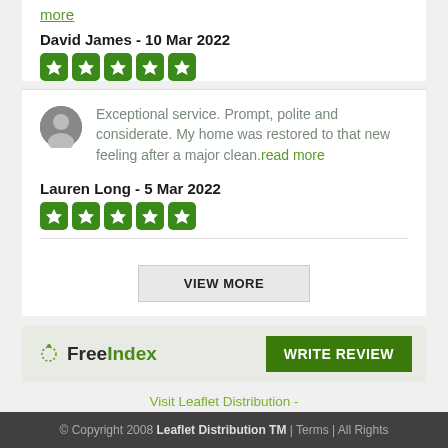more
David James - 10 Mar 2022
[Figure (other): 5 green star rating boxes for David James review]
Exceptional service. Prompt, polite and considerate. My home was restored to that new feeling after a major clean. read more
Lauren Long - 5 Mar 2022
[Figure (other): 5 green star rating boxes for Lauren Long review]
VIEW MORE
[Figure (logo): FreeIndex logo with arc of dots and Free in black, Index in green]
WRITE REVIEW
Visit Leaflet Distribution - Leaflet Distributor on FreeIndex
© Copyright 2008 Leaflet Distribution TM | Terms | All Rights